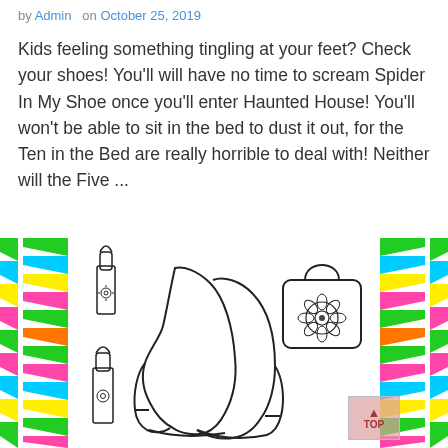by Admin   on October 25, 2019
Kids feeling something tingling at your feet? Check your shoes! You'll will have no time to scream Spider In My Shoe once you'll enter Haunted House! You'll won't be able to sit in the bed to dust it out, for the Ten in the Bed are really horrible to deal with! Neither will the Five ...
[Figure (illustration): Coloring page illustration of high-heel shoes, lipstick tubes, and a handbag with flower design, flanked by colorful crayon-strip decorative borders on both sides. A semi-transparent pink 'TOP' button overlay appears in the lower right.]